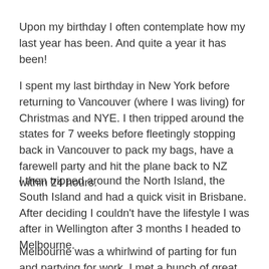Upon my birthday I often contemplate how my last year has been. And quite a year it has been!
I spent my last birthday in New York before returning to Vancouver (where I was living) for Christmas and NYE. I then tripped around the states for 7 weeks before fleetingly stopping back in Vancouver to pack my bags, have a farewell party and hit the plane back to NZ within 24 hours.
I then tripped around the North Island, the South Island and had a quick visit in Brisbane. After deciding I couldn't have the lifestyle I was after in Wellington after 3 months I headed to Melbourne.
Melbourne was a whirlwind of parting for fun and partying for work. I met a bunch of great people and cut out some others that weren't doing it for me. I lasted there 3 months